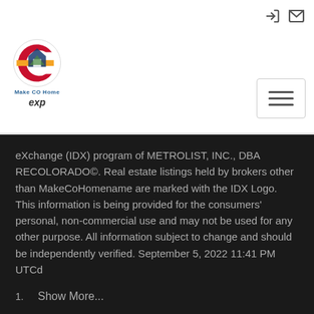[Figure (logo): Make CO Home logo with Colorado flag design circle and eXp text below]
eXchange (IDX) program of METROLIST, INC., DBA RECOLORADO©. Real estate listings held by brokers other than MakeCoHomename are marked with the IDX Logo. This information is being provided for the consumers' personal, non-commercial use and may not be used for any other purpose. All information subject to change and should be independently verified. September 5, 2022 11:41 PM UTCd
1.  Show More...